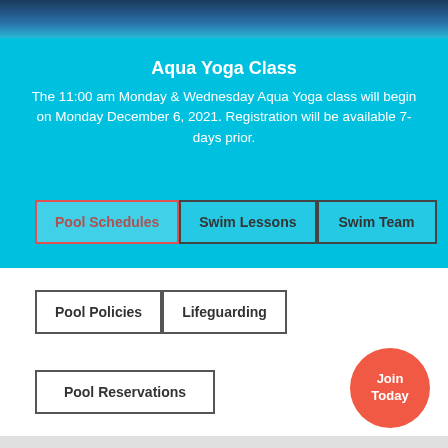[Figure (photo): Dark blue/teal top banner image of a pool or water scene]
Aqua Yoga Class
The 11:00 am Monday & Wednesday Aqua Yoga class will begin on Monday December 6, 2021. Registration will be available 7-days prior.
Pool Schedules
Swim Lessons
Swim Team
Pool Policies
Lifeguarding
Pool Reservations
Join Today